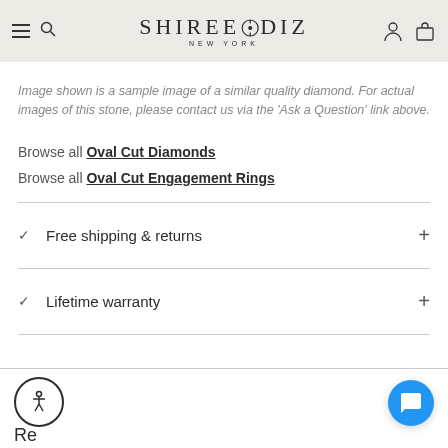SHIREODIZ NEW YORK
Image shown is a sample image of a similar quality diamond. For actual images of this stone, please contact us via the 'Ask a Question' link above.
Browse all Oval Cut Diamonds
Browse all Oval Cut Engagement Rings
Free shipping & returns
Lifetime warranty
[Figure (other): Accessibility icon (person in circle) and blue chat bubble button]